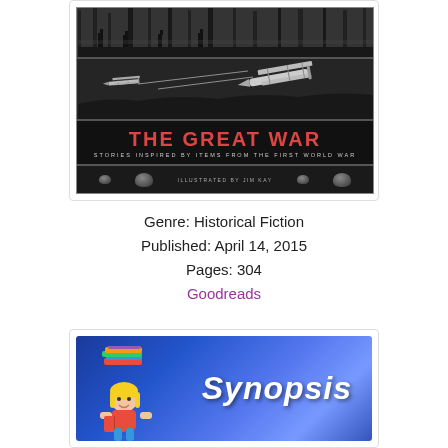[Figure (illustration): Book cover of 'The Great War: Stories Inspired by Items from the First World War', illustrated by Jim Kay. Black and white cover showing soldiers/trees at top, biplanes in middle, large red title text, and helmets at bottom.]
Genre: Historical Fiction
Published: April 14, 2015
Pages: 304
Goodreads
[Figure (illustration): Synopsis banner image showing a blue textured background with a cartoon girl reading a stack of books and the word 'Synopsis' in white italic bold text.]